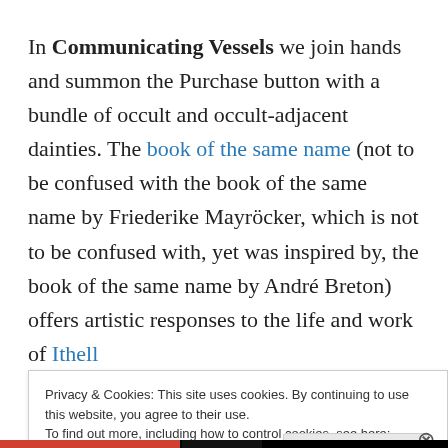In Communicating Vessels we join hands and summon the Purchase button with a bundle of occult and occult-adjacent dainties. The book of the same name (not to be confused with the book of the same name by Friederike Mayröcker, which is not to be confused with, yet was inspired by, the book of the same name by André Breton) offers artistic responses to the life and work of Ithell
Privacy & Cookies: This site uses cookies. By continuing to use this website, you agree to their use. To find out more, including how to control cookies, see here: Cookie Policy
Close and accept